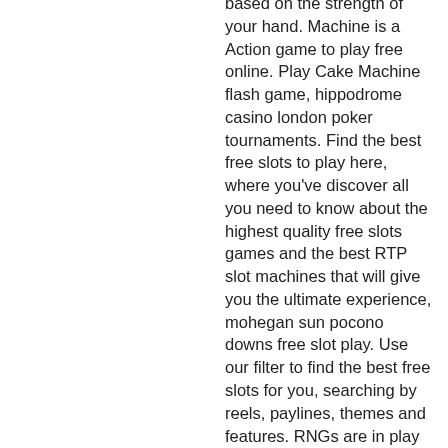based on the strength of your hand. Machine is a Action game to play free online. Play Cake Machine flash game, hippodrome casino london poker tournaments. Find the best free slots to play here, where you've discover all you need to know about the highest quality free slots games and the best RTP slot machines that will give you the ultimate experience, mohegan sun pocono downs free slot play. Use our filter to find the best free slots for you, searching by reels, paylines, themes and features. RNGs are in play at every online casino. Yes, it is a free game, but you still want it to be fair, how to play bingo at sandia casino. Fresh perspectives A wide array of banking options US players are welcome Both download and instant play options available 275% matching bonus for up to $550 deposit 24/7 responsive customer